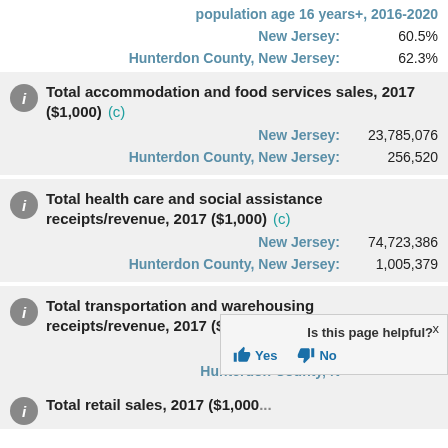population age 16 years+, 2016-2020
New Jersey: 60.5%
Hunterdon County, New Jersey: 62.3%
Total accommodation and food services sales, 2017 ($1,000) (c)
New Jersey: 23,785,076
Hunterdon County, New Jersey: 256,520
Total health care and social assistance receipts/revenue, 2017 ($1,000) (c)
New Jersey: 74,723,386
Hunterdon County, New Jersey: 1,005,379
Total transportation and warehousing receipts/revenue, 2017 ($1,000) (c)
New Jersey: 30,902,528
Hunterdon County, New Jersey: (value partially obscured)
Total retail sales, 2017 ($1,000)